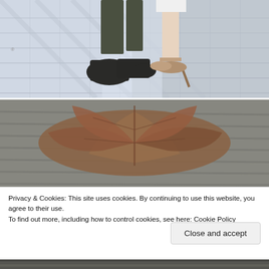[Figure (photo): Cropped view of two people's legs and feet on a brick/paved outdoor surface. One person wears dark boots, the other wears high heels. Geometric shadow patterns on the pavement.]
[Figure (photo): Close-up blurred photograph of a dry brown autumn leaf, with a grey textured background (water or pavement).]
Privacy & Cookies: This site uses cookies. By continuing to use this website, you agree to their use.
To find out more, including how to control cookies, see here: Cookie Policy
Close and accept
[Figure (photo): Partially visible bottom photo, dark tones, cropped at page edge.]